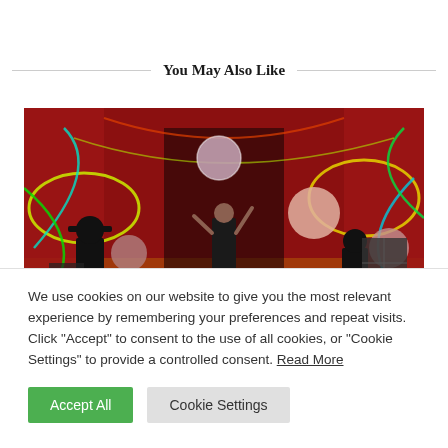You May Also Like
[Figure (photo): A performer juggling large glowing balls on a red-lit stage with colorful neon light trails in the background. Two silhouetted figures watch from each side of the stage.]
We use cookies on our website to give you the most relevant experience by remembering your preferences and repeat visits. Click "Accept" to consent to the use of all cookies, or "Cookie Settings" to provide a controlled consent. Read More
Accept All
Cookie Settings